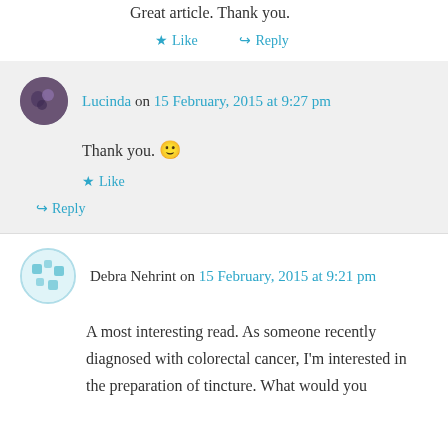Great article. Thank you.
★ Like
↪ Reply
Lucinda on 15 February, 2015 at 9:27 pm
Thank you. 🙂
★ Like
↪ Reply
Debra Nehrint on 15 February, 2015 at 9:21 pm
A most interesting read. As someone recently diagnosed with colorectal cancer, I'm interested in the preparation of tincture. What would you